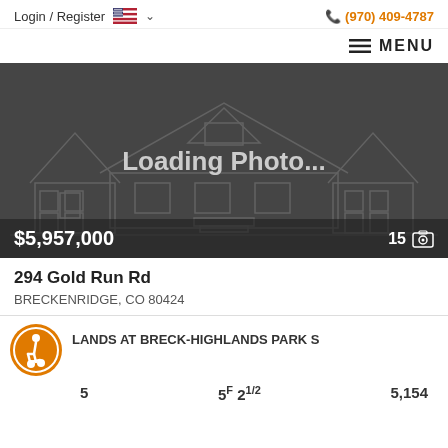Login / Register  (970) 409-4787
MENU
[Figure (photo): Loading Photo... placeholder image of a house outline on dark grey background with price $5,957,000 and photo count 15]
294 Gold Run Rd
BRECKENRIDGE, CO 80424
LANDS AT BRECK-HIGHLANDS PARK S
5   5F 21/2   5,154